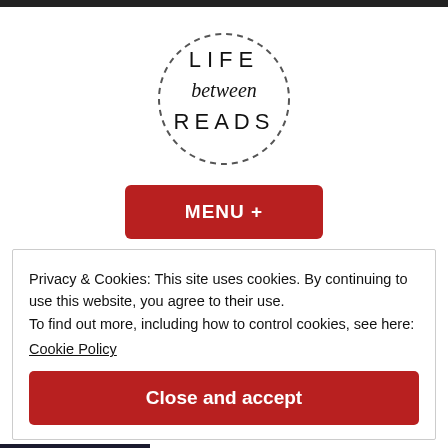[Figure (logo): Life Between Reads circular dashed-border logo with stylized text]
MENU +
Privacy & Cookies: This site uses cookies. By continuing to use this website, you agree to their use.
To find out more, including how to control cookies, see here:
Cookie Policy
Close and accept
[Figure (photo): Partial book cover image with author name Eden Ashley visible]